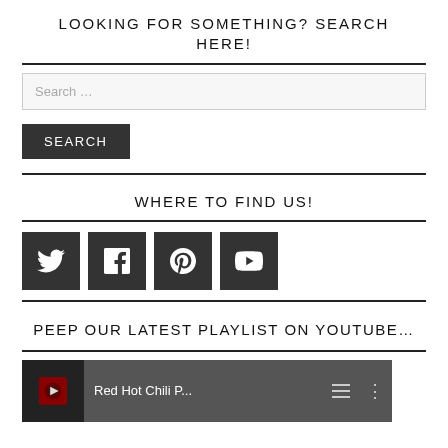LOOKING FOR SOMETHING? SEARCH HERE!
Search …
SEARCH
WHERE TO FIND US!
[Figure (infographic): Social media icons: Twitter, Facebook, Pinterest, YouTube — dark square buttons]
PEEP OUR LATEST PLAYLIST ON YOUTUBE…
[Figure (screenshot): YouTube playlist thumbnail showing a dark background with red floral splatter and text 'Red Hot Chili P...' with playlist/menu icons]